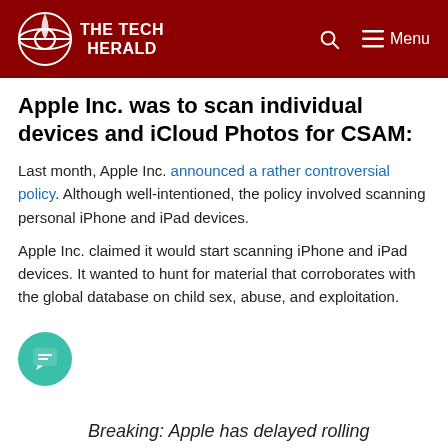THE TECH HERALD
Apple Inc. was to scan individual devices and iCloud Photos for CSAM:
Last month, Apple Inc. announced a rather controversial policy. Although well-intentioned, the policy involved scanning personal iPhone and iPad devices.
Apple Inc. claimed it would start scanning iPhone and iPad devices. It wanted to hunt for material that corroborates with the global database on child sex, abuse, and exploitation.
Breaking: Apple has delayed rolling